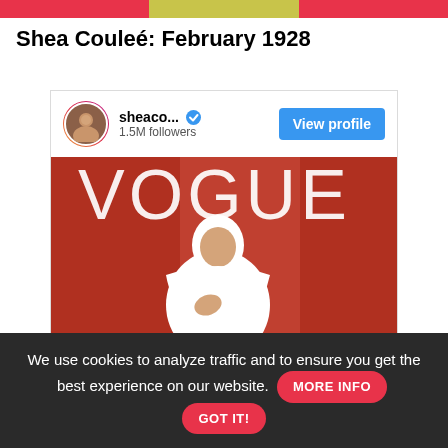[Figure (other): Top banner strip with red, yellow/olive, and red sections]
Shea Couleé: February 1928
[Figure (screenshot): Instagram profile embed showing sheaco... with 1.5M followers, verified badge, View profile button, and a Vogue magazine cover image with red background and figure in white outfit]
We use cookies to analyze traffic and to ensure you get the best experience on our website.
MORE INFO
GOT IT!